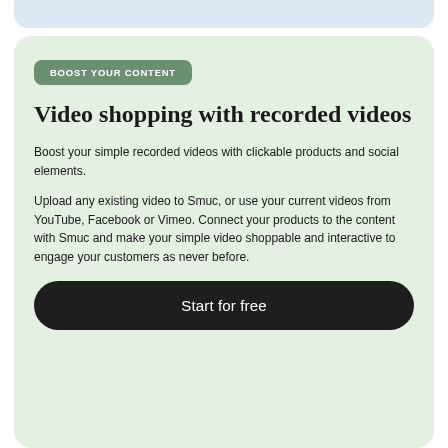BOOST YOUR CONTENT
Video shopping with recorded videos
Boost your simple recorded videos with clickable products and social elements.
Upload any existing video to Smuc, or use your current videos from YouTube, Facebook or Vimeo. Connect your products to the content with Smuc and make your simple video shoppable and interactive to engage your customers as never before.
Start for free